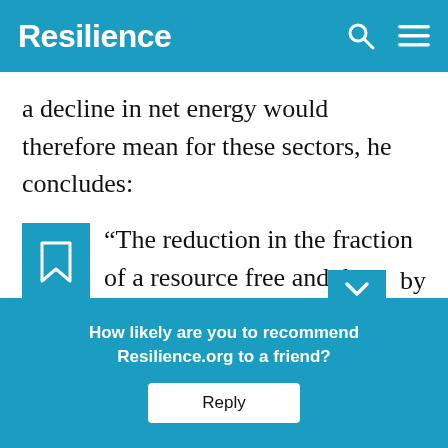Resilience
a decline in net energy would therefore mean for these sectors, he concludes:
“The reduction in the fraction of a resource free and the energy system productivity extends from the energy system to all aspects of the economy, which gives an
by
How likely are you to recommend Resilience.org to a friend?
Reply